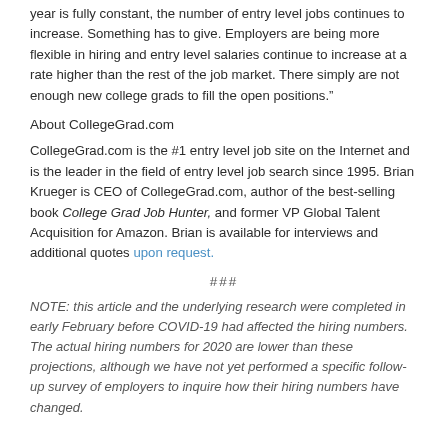year is fully constant, the number of entry level jobs continues to increase. Something has to give. Employers are being more flexible in hiring and entry level salaries continue to increase at a rate higher than the rest of the job market. There simply are not enough new college grads to fill the open positions.”
About CollegeGrad.com
CollegeGrad.com is the #1 entry level job site on the Internet and is the leader in the field of entry level job search since 1995. Brian Krueger is CEO of CollegeGrad.com, author of the best-selling book College Grad Job Hunter, and former VP Global Talent Acquisition for Amazon. Brian is available for interviews and additional quotes upon request.
###
NOTE: this article and the underlying research were completed in early February before COVID-19 had affected the hiring numbers. The actual hiring numbers for 2020 are lower than these projections, although we have not yet performed a specific follow-up survey of employers to inquire how their hiring numbers have changed.